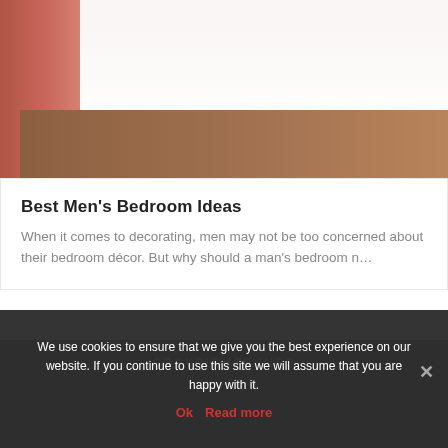[Figure (photo): Bedroom photo showing white bedding, red/pink pillows, and wooden bed frame]
Best Men's Bedroom Ideas
When it comes to decorating, men may not be too concerned about their bedroom décor. But why should a man's bedroom n…
COPYRIGHTS INFO
We use cookies to ensure that we give you the best experience on our website. If you continue to use this site we will assume that you are happy with it.
Ok   Read more